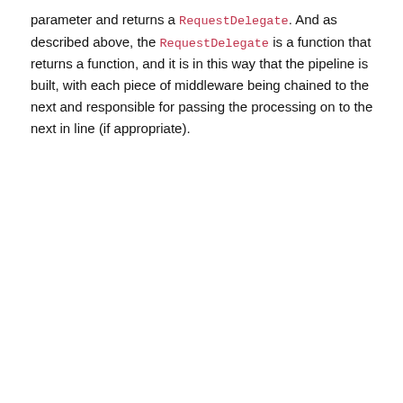parameter and returns a RequestDelegate. And as described above, the RequestDelegate is a function that returns a function, and it is in this way that the pipeline is built, with each piece of middleware being chained to the next and responsible for passing the processing on to the next in line (if appropriate).